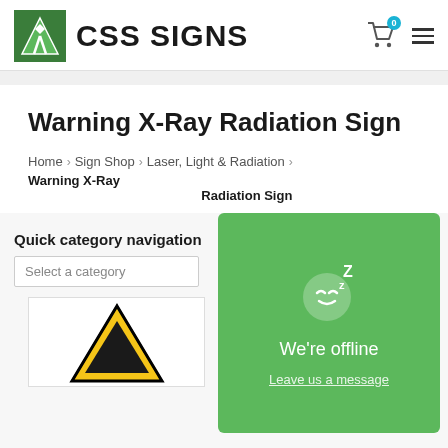[Figure (logo): CSS Signs logo with green diamond road sign icon and bold CSS SIGNS text]
Warning X-Ray Radiation Sign
Home > Sign Shop > Laser, Light & Radiation > Warning X-Ray Radiation Sign
Quick category navigation
[Figure (screenshot): We're offline chat popup with sleeping face emoji and 'Leave us a message' link on green background]
[Figure (photo): Warning X-Ray Radiation sign product image partially visible at bottom]